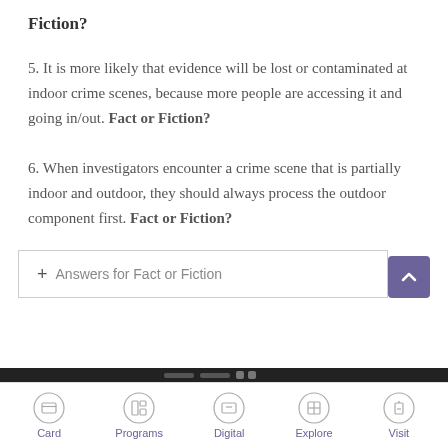Fiction?
5. It is more likely that evidence will be lost or contaminated at indoor crime scenes, because more people are accessing it and going in/out. Fact or Fiction?
6. When investigators encounter a crime scene that is partially indoor and outdoor, they should always process the outdoor component first. Fact or Fiction?
+ Answers for Fact or Fiction
Card  Programs  Digital  Explore  Visit